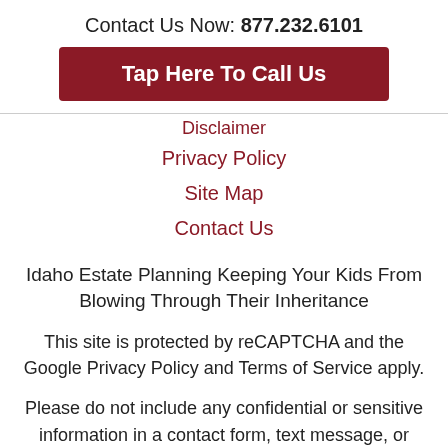Contact Us Now: 877.232.6101
Tap Here To Call Us
Disclaimer
Privacy Policy
Site Map
Contact Us
Idaho Estate Planning Keeping Your Kids From Blowing Through Their Inheritance
This site is protected by reCAPTCHA and the Google Privacy Policy and Terms of Service apply.
Please do not include any confidential or sensitive information in a contact form, text message, or